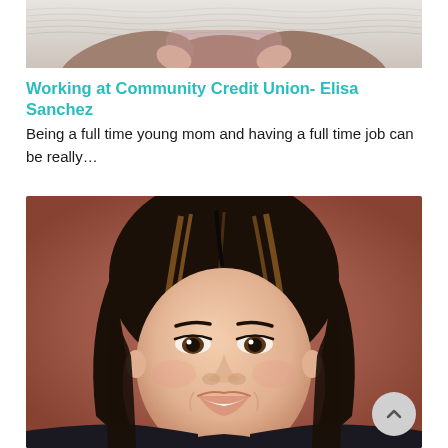[Figure (photo): Partial photo of a woman, showing arms folded, wearing a pink/mauve sweater, against a wavy textured background. Only the torso/arms are visible as the image is cropped.]
Working at Community Credit Union- Elisa Sanchez
Being a full time young mom and having a full time job can be really…
[Figure (photo): Professional headshot portrait of a smiling Asian woman with dark hair with highlights, against a warm brownish-red background. She is wearing a dark top and has a warm, friendly smile.]